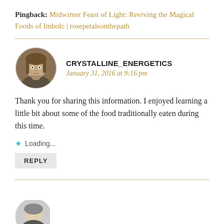Pingback: Midwinter Feast of Light: Reviving the Magical Foods of Imbolc | rosepetalsonthepath
[Figure (photo): Circular avatar photo of a person with long hair, sitting indoors]
CRYSTALLINE_ENERGETICS
January 31, 2016 at 9:16 pm
Thank you for sharing this information. I enjoyed learning a little bit about some of the food traditionally eaten during this time.
Loading...
REPLY
[Figure (photo): Partial circular avatar at bottom of page, partially cut off]